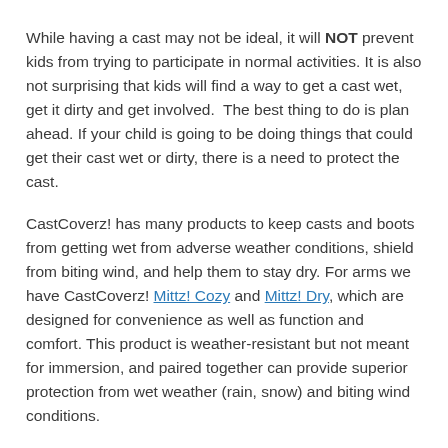While having a cast may not be ideal, it will NOT prevent kids from trying to participate in normal activities. It is also not surprising that kids will find a way to get a cast wet, get it dirty and get involved.  The best thing to do is plan ahead. If your child is going to be doing things that could get their cast wet or dirty, there is a need to protect the cast.
CastCoverz! has many products to keep casts and boots from getting wet from adverse weather conditions, shield from biting wind, and help them to stay dry. For arms we have CastCoverz! Mittz! Cozy and Mittz! Dry, which are designed for convenience as well as function and comfort. This product is weather-resistant but not meant for immersion, and paired together can provide superior protection from wet weather (rain, snow) and biting wind conditions.
Slickerz! which is a similar product for your leg is also